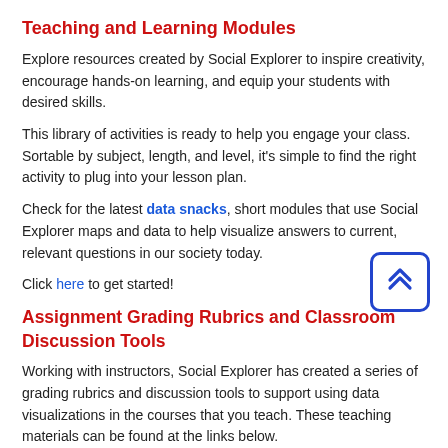Teaching and Learning Modules
Explore resources created by Social Explorer to inspire creativity, encourage hands-on learning, and equip your students with desired skills.
This library of activities is ready to help you engage your class. Sortable by subject, length, and level, it's simple to find the right activity to plug into your lesson plan.
Check for the latest data snacks, short modules that use Social Explorer maps and data to help visualize answers to current, relevant questions in our society today.
Click here to get started!
Assignment Grading Rubrics and Classroom Discussion Tools
Working with instructors, Social Explorer has created a series of grading rubrics and discussion tools to support using data visualizations in the courses that you teach. These teaching materials can be found at the links below.
Social Explorer Assignment Template